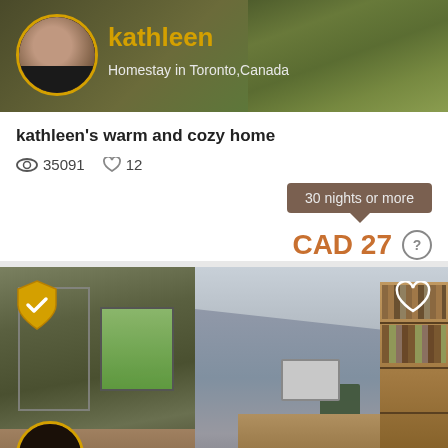[Figure (screenshot): Homestay listing card for Kathleen in Toronto, Canada with profile photo on olive/grass background]
kathleen's warm and cozy home
35091 views · 12 likes
30 nights or more
CAD 27
[Figure (photo): Room photos showing bedroom with slanted ceiling, bed, desk, monitor, bookshelf, and mirror. Shield/verified icon overlay. Heart/favorite icon. Steve host name at bottom.]